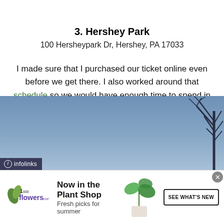3. Hershey Park
100 Hersheypark Dr, Hershey, PA 17033
I made sure that I purchased our ticket online even before we get there. I also worked around that schedule so we would have enough time to spend in the park and outside the park.
[Figure (screenshot): Infolinks advertisement banner showing a blue sky with tree silhouette, and a 1-800-flowers.com ad for the Plant Shop with text 'Now in the Plant Shop — Fresh picks for summer' and a 'SEE WHAT'S NEW' button.]